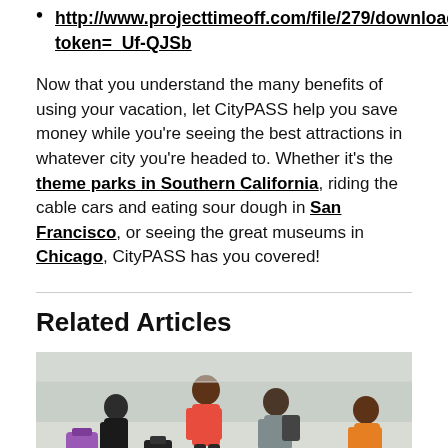http://www.projecttimeoff.com/file/279/download?token=_Uf-QJSb
Now that you understand the many benefits of using your vacation, let CityPASS help you save money while you're seeing the best attractions in whatever city you're headed to. Whether it's the theme parks in Southern California, riding the cable cars and eating sour dough in San Francisco, or seeing the great museums in Chicago, CityPASS has you covered!
Related Articles
[Figure (photo): Group of people with luggage walking in what appears to be an airport or transit hub]